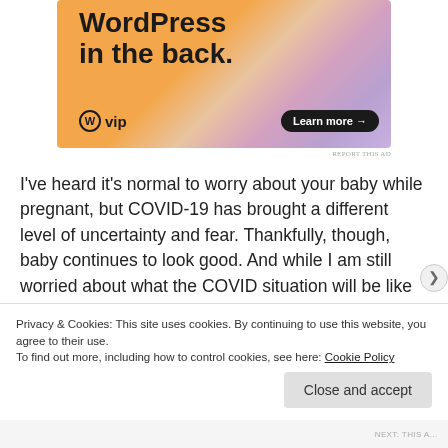[Figure (screenshot): WordPress VIP advertisement banner with orange/pink gradient background. Text reads 'WordPress in the back.' with WordPress W logo and VIP branding, plus a 'Learn more →' dark button.]
REPORT THIS AD
I've heard it's normal to worry about your baby while pregnant, but COVID-19 has brought a different level of uncertainty and fear. Thankfully, though, baby continues to look good. And while I am still worried about what the COVID situation will be like this fall and when baby starts daycare, I've become more accepting of the anxiety I feel. I imagine too, that in becoming a mom I will have some level
Privacy & Cookies: This site uses cookies. By continuing to use this website, you agree to their use.
To find out more, including how to control cookies, see here: Cookie Policy
Close and accept